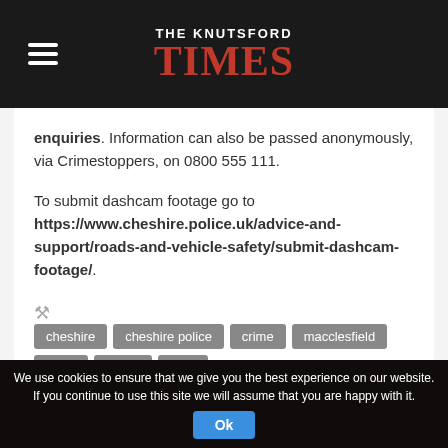THE KNUTSFORD TIMES
enquiries. Information can also be passed anonymously, via Crimestoppers, on 0800 555 111.

To submit dashcam footage go to https://www.cheshire.police.uk/advice-and-support/roads-and-vehicle-safety/submit-dashcam-footage/.
cheshire
cheshire police
crime
macclesfield
news
police
theft
Tweet  Pin It
We use cookies to ensure that we give you the best experience on our website. If you continue to use this site we will assume that you are happy with it. Ok